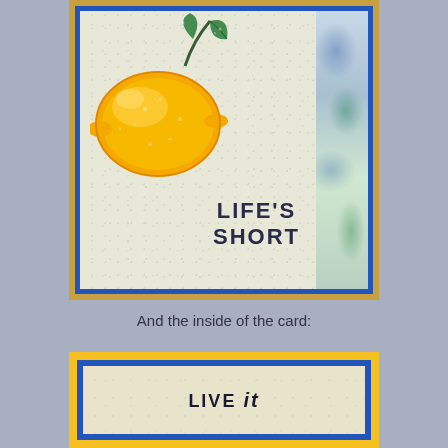[Figure (photo): Handmade greeting card featuring a large orange/yellow lemon with glitter green leaves, stamped on cream speckled paper with blue border and yellow outer border. Right side has a decorative panel with blue and green abstract stamped pattern. Text reads LIFE'S SHORT in dark uppercase letters.]
And the inside of the card:
[Figure (photo): Inside of greeting card showing yellow outer card, blue mat layer, and cream speckled inner panel with text reading LIVE it (with 'it' in italics).]